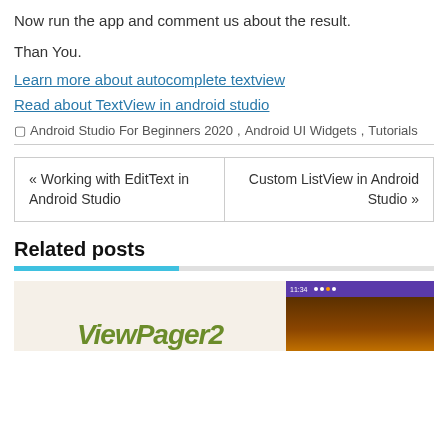Now run the app and comment us about the result.
Than You.
Learn more about autocomplete textview
Read about TextView in android studio
Android Studio For Beginners 2020, Android UI Widgets, Tutorials
« Working with EditText in Android Studio
Custom ListView in Android Studio »
Related posts
[Figure (screenshot): Related posts section showing ViewPager2 text logo and an Android phone screenshot with purple status bar]